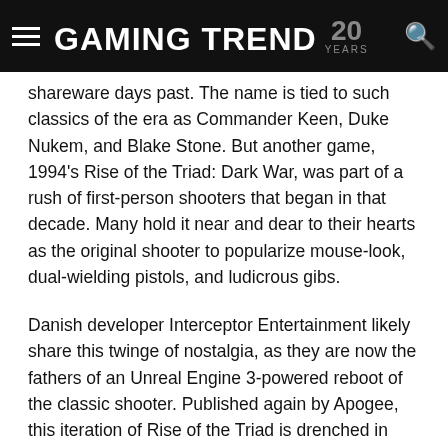GAMING TREND 20 YEARS
shareware days past. The name is tied to such classics of the era as Commander Keen, Duke Nukem, and Blake Stone. But another game, 1994's Rise of the Triad: Dark War, was part of a rush of first-person shooters that began in that decade. Many hold it near and dear to their hearts as the original shooter to popularize mouse-look, dual-wielding pistols, and ludicrous gibs.
Danish developer Interceptor Entertainment likely share this twinge of nostalgia, as they are now the fathers of an Unreal Engine 3-powered reboot of the classic shooter. Published again by Apogee, this iteration of Rise of the Triad is drenched in old-school wonder. Everything from the dangerous obstacles to the cheesy story makes a return in glorious HD. But much about this game that was fresh and new in the 90s comes off instead as dated and awkward today. There's a lot here for the nostalgic gamer, but